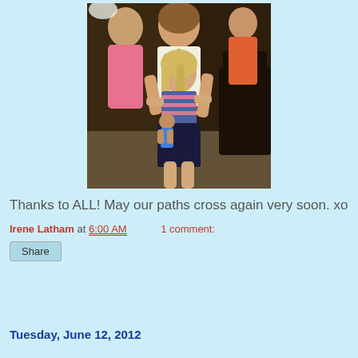[Figure (photo): A woman and a young girl posing together indoors. The girl has blonde hair and is holding a doll. The woman is wearing a floral dress. Dark furniture and other people visible in background.]
Thanks to ALL! May our paths cross again very soon. xo
Irene Latham at 6:00 AM   1 comment:
Share
Tuesday, June 12, 2012